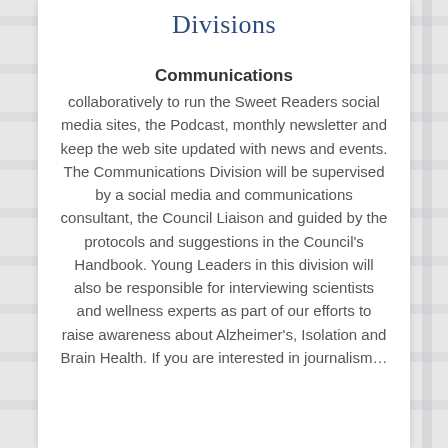Divisions
Communications
collaboratively to run the Sweet Readers social media sites, the Podcast, monthly newsletter and keep the web site updated with news and events. The Communications Division will be supervised by a social media and communications consultant, the Council Liaison and guided by the protocols and suggestions in the Council's Handbook. Young Leaders in this division will also be responsible for interviewing scientists and wellness experts as part of our efforts to raise awareness about Alzheimer's, Isolation and Brain Health. If you are interested in journalism…